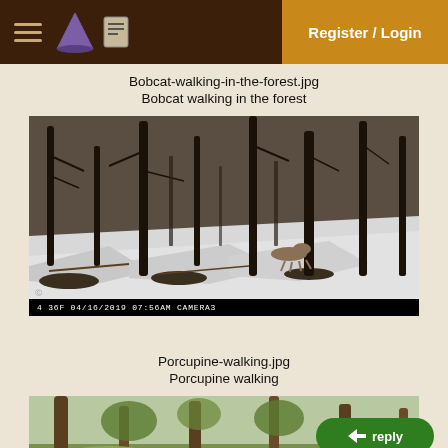Register / Login
Bobcat-walking-in-the-forest.jpg
Bobcat walking in the forest
[Figure (photo): Trail camera photo of a bobcat walking in a snowy forest with bare trees. Timestamp overlay at bottom: 4 36F, 04/16/2019, 07:56AM, CAMERA3]
Porcupine-walking.jpg
Porcupine walking
[Figure (photo): Partial trail camera photo of a porcupine walking in a forested area with green grass and trees]